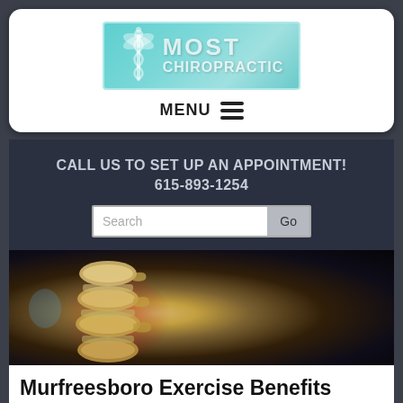[Figure (logo): Most Chiropractic logo with caduceus symbol on teal background]
MENU ≡
CALL US TO SET UP AN APPOINTMENT!
615-893-1254
[Figure (screenshot): Search bar with 'Search' placeholder and 'Go' button]
[Figure (photo): 3D rendered spinal vertebrae image with red glow and dark background]
Murfreesboro Exercise Benefits Chronic Lower Back Pain